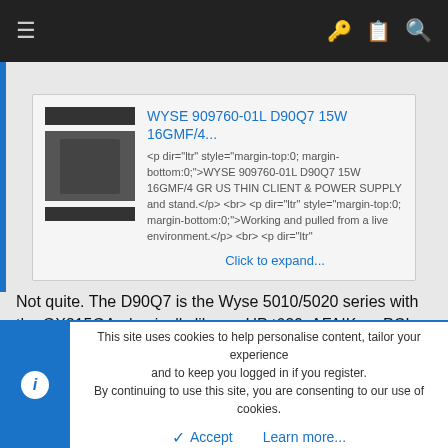Navigation bar with hamburger menu and icons
[Figure (screenshot): Product listing card showing WYSE 909760-01L D90Q7 15W 16GMF/4 thin client with image thumbnail and HTML-formatted description text]
Not quite. The D90Q7 is the Wyse 5010/5020 series with the GX215GA - basically like an HP t620. AFAIK no PCIe slot in those chassis.
This site uses cookies to help personalise content, tailor your experience and to keep you logged in if you register.
By continuing to use this site, you are consenting to our use of cookies.
Accept   Learn more...